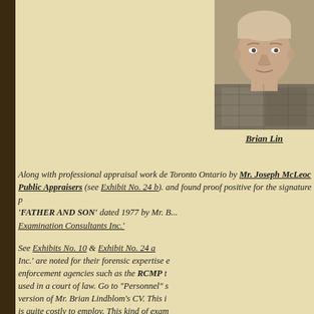[Figure (photo): Portrait photo of Brian Lindblom, a middle-aged man, partially cropped on right side]
Brian Li...
Along with professional appraisal work de... Toronto Ontario by Mr. Joseph McLeod... Public Appraisers (see Exhibit No. 24 b). ...and found proof positive for the signature p... 'FATHER AND SON' dated 1977 by Mr. B... Examination Consultants Inc.'
See Exhibits No. 10 & Exhibit No. 24 a ... Inc.' are noted for their forensic expertise e... enforcement agencies such as the RCMP t... used in a court of law. Go to "Personnel" s... version of Mr. Brian Lindblom's CV. This i... is quite costly to employ. This kind of exam... biased professional scrutiny.
The forensics work can only be conducted...